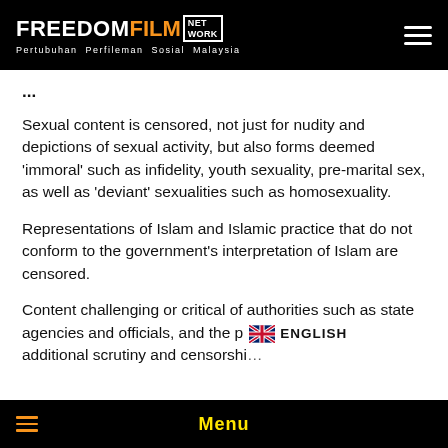FREEDOM FILM NETWORK — Pertubuhan Perfileman Sosial Malaysia
Sexual content is censored, not just for nudity and depictions of sexual activity, but also forms deemed ‘immoral’ such as infidelity, youth sexuality, pre-marital sex, as well as ‘deviant’ sexualities such as homosexuality.
Representations of Islam and Islamic practice that do not conform to the government’s interpretation of Islam are censored.
Content challenging or critical of authorities such as state agencies and officials, and the po... additional scrutiny and censorshi...
Menu